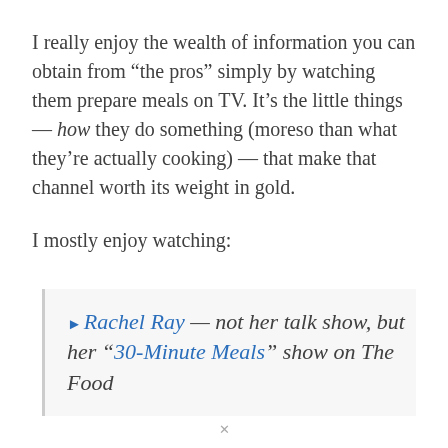I really enjoy the wealth of information you can obtain from “the pros” simply by watching them prepare meals on TV. It’s the little things — how they do something (moreso than what they’re actually cooking) — that make that channel worth its weight in gold.
I mostly enjoy watching:
▸Rachel Ray — not her talk show, but her “30-Minute Meals” show on The Food